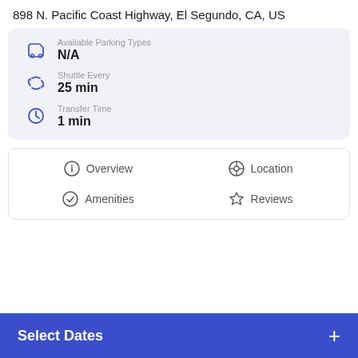898 N. Pacific Coast Highway, El Segundo, CA, US
Available Parking Types
N/A
Shuttle Every
25 min
Transfer Time
1 min
Overview
Location
Amenities
Reviews
Select Dates